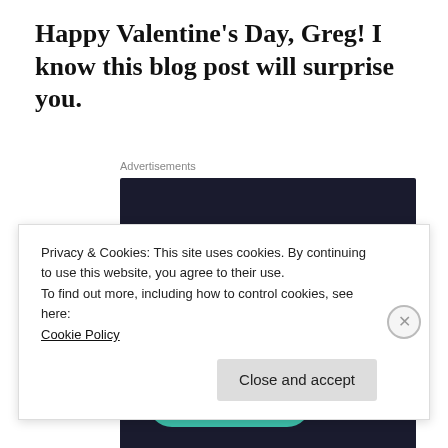Happy Valentine's Day, Greg! I know this blog post will surprise you.
Advertisements
[Figure (infographic): Dark navy advertisement box with teal text: 'Turn your blog into a money-making online course.' and a teal 'Learn More' button]
Privacy & Cookies: This site uses cookies. By continuing to use this website, you agree to their use.
To find out more, including how to control cookies, see here:
Cookie Policy
Close and accept